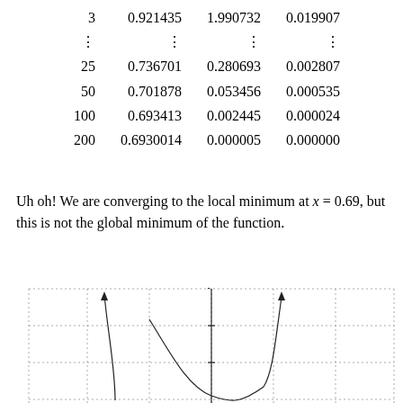| 3 | 0.921435 | 1.990732 | 0.019907 |
| ⋮ | ⋮ | ⋮ | ⋮ |
| 25 | 0.736701 | 0.280693 | 0.002807 |
| 50 | 0.701878 | 0.053456 | 0.000535 |
| 100 | 0.693413 | 0.002445 | 0.000024 |
| 200 | 0.6930014 | 0.000005 | 0.000000 |
Uh oh! We are converging to the local minimum at x = 0.69, but this is not the global minimum of the function.
[Figure (continuous-plot): A mathematical plot showing y-axis label, dotted grid lines, and curves with arrows indicating local minima behavior. Two upward arrows and a curve dipping to a local minimum are visible.]